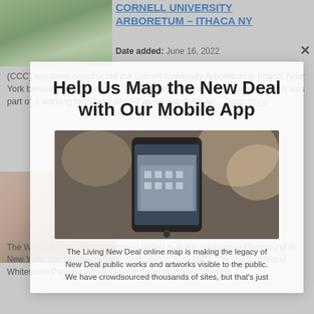[Figure (screenshot): Background webpage showing New Deal project listings with photos and descriptions for Cornell University Arboretum and Whitestone Playground]
[Figure (screenshot): Modal popup overlay showing 'Help Us Map the New Deal with Our Mobile App' with a phone image and descriptive text about the Living New Deal online map]
Help Us Map the New Deal with Our Mobile App
The Living New Deal online map is making the legacy of New Deal public works and artworks visible to the public. We have crowdsourced thousands of sites, but that's just